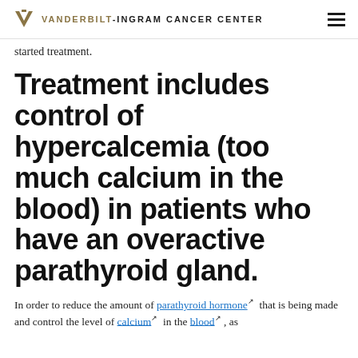VANDERBILT-INGRAM CANCER CENTER
started treatment.
Treatment includes control of hypercalcemia (too much calcium in the blood) in patients who have an overactive parathyroid gland.
In order to reduce the amount of parathyroid hormoneé that is being made and control the level of calciumé in the bloodé , as